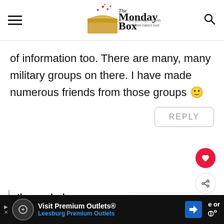[Figure (logo): The Monday Box logo with a cardboard box and hearts, tagline: care package recipes for home-baked love]
of information too. There are many, many military groups on there. I have made numerous friends from those groups 🙂
REPLY
themondaybox
August 19, 2013 at
[Figure (infographic): What's Next widget showing Cranberry White... with cookie image]
Visit Premium Outlets® Leesburg Premium Outlets